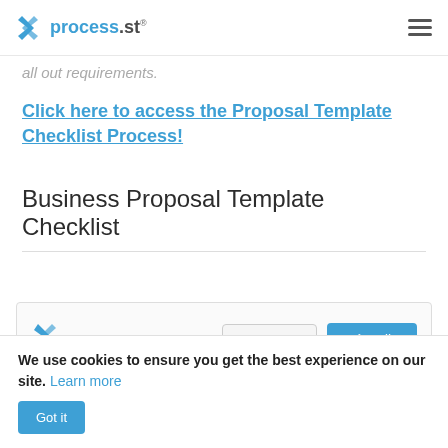process.st
all out requirements.
Click here to access the Proposal Template Checklist Process!
Business Proposal Template Checklist
[Figure (screenshot): Checklist preview widget with process.st logo, Share button with dropdown chevron, and blue Edit button with pencil icon]
We use cookies to ensure you get the best experience on our site. Learn more
Got it